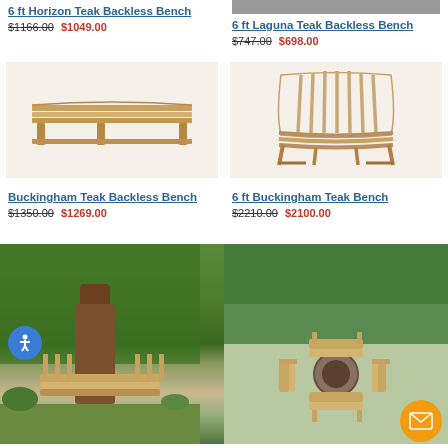[Figure (photo): 6 ft Horizon Teak Backless Bench product image]
6 ft Horizon Teak Backless Bench
$1166.00 $1049.00
[Figure (photo): 6 ft Laguna Teak Backless Bench product image with gray stone background]
6 ft Laguna Teak Backless Bench
$747.00 $698.00
[Figure (photo): Buckingham Teak Backless Bench product image]
Buckingham Teak Backless Bench
$1350.00 $1269.00
[Figure (photo): 6 ft Buckingham Teak Bench curved bench product image]
6 ft Buckingham Teak Bench
$2210.00 $2100.00
[Figure (photo): Tree bench in garden setting]
[Figure (photo): Benches arranged around fire pit in garden]